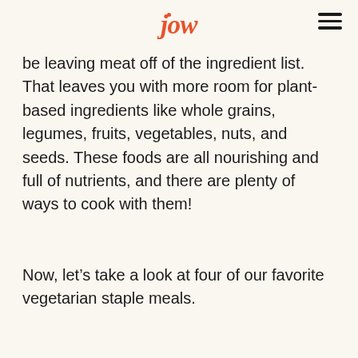jow
be leaving meat off of the ingredient list. That leaves you with more room for plant-based ingredients like whole grains, legumes, fruits, vegetables, nuts, and seeds. These foods are all nourishing and full of nutrients, and there are plenty of ways to cook with them!
Now, let’s take a look at four of our favorite vegetarian staple meals.